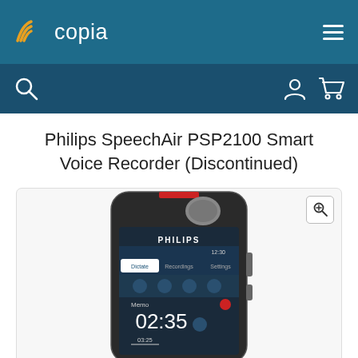copia
Philips SpeechAir PSP2100 Smart Voice Recorder (Discontinued)
[Figure (photo): Photo of Philips SpeechAir PSP2100 Smart Voice Recorder device, showing the front face of the device with PHILIPS branding, a touchscreen displaying the DPM app interface with Dictate/Recordings/Settings tabs, a timer showing 02:35, Memo label, and 03:25 timestamp, plus hardware buttons on the side.]